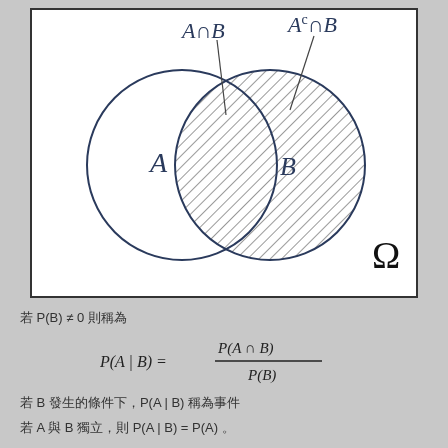[Figure (illustration): Venn diagram showing two overlapping circles A and B. The right circle (B) and the intersection are shaded with diagonal lines. Labels show A∩B pointing to the intersection, and A^c∩B pointing to the right part of B. Omega symbol in bottom right corner.]
若 P(B) ≠ 0 則稱為
若 B 發生的條件下，P(A | B) 稱為事件
若 A 與 B 獨立，則 P(A | B) = P(A) 。